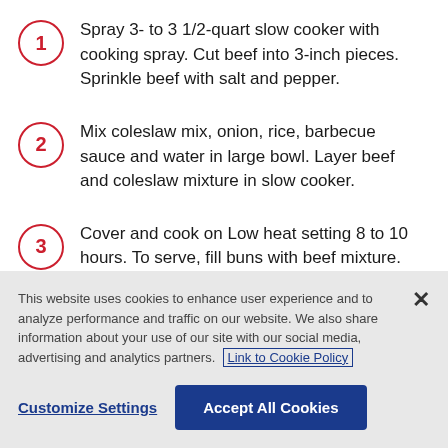Spray 3- to 3 1/2-quart slow cooker with cooking spray. Cut beef into 3-inch pieces. Sprinkle beef with salt and pepper.
Mix coleslaw mix, onion, rice, barbecue sauce and water in large bowl. Layer beef and coleslaw mixture in slow cooker.
Cover and cook on Low heat setting 8 to 10 hours. To serve, fill buns with beef mixture. Serve with
This website uses cookies to enhance user experience and to analyze performance and traffic on our website. We also share information about your use of our site with our social media, advertising and analytics partners. Link to Cookie Policy
Customize Settings | Accept All Cookies